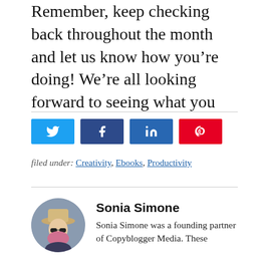Remember, keep checking back throughout the month and let us know how you’re doing! We’re all looking forward to seeing what you do.
[Figure (infographic): Social share buttons for Twitter, Facebook, LinkedIn, and Pinterest]
filed under: Creativity, Ebooks, Productivity
Sonia Simone
Sonia Simone was a founding partner of Copyblogger Media. These